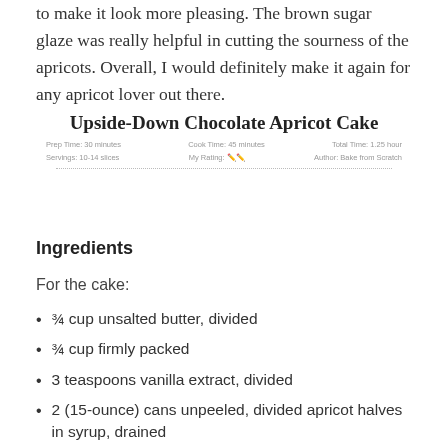to make it look more pleasing. The brown sugar glaze was really helpful in cutting the sourness of the apricots. Overall, I would definitely make it again for any apricot lover out there.
[Figure (other): Recipe card for Upside-Down Chocolate Apricot Cake with prep time: 30 minutes, cook time: 45 minutes, total time: 1.25 hour, servings: 10-14 slices, rating icons, author: Bake from Scratch]
Ingredients
For the cake:
¾ cup unsalted butter, divided
¾ cup firmly packed
3 teaspoons vanilla extract, divided
2 (15-ounce) cans unpeeled, divided apricot halves in syrup, drained